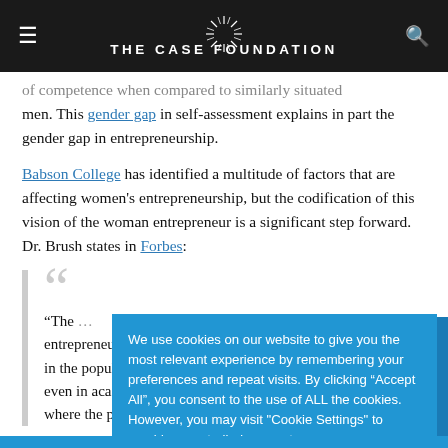THE CASE FOUNDATION
of competence when compared to similarly situated men. This gender gap in self-assessment explains in part the gender gap in entrepreneurship.
Babson College has identified a multitude of factors that are affecting women's entrepreneurship, but the codification of this vision of the woman entrepreneur is a significant... Brush states in Forbes:
“The entrepreneurship... in the popular... even in acade... where the protagonists of
We use cookies on our website to give you the most relevant experience by remembering your preferences and repeat visits. By clicking “Accept All”, you consent to the use of ALL the cookies. However, you may visit "Cookie Settings" to provide a controlled consent.